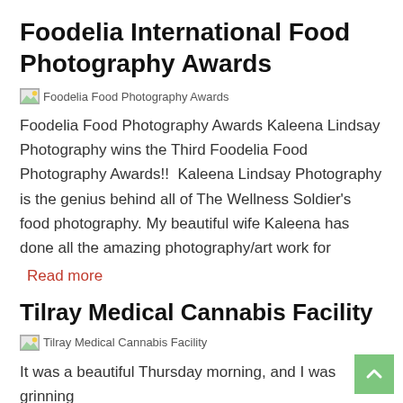Foodelia International Food Photography Awards
[Figure (photo): Broken/placeholder image for Foodelia Food Photography Awards]
Foodelia Food Photography Awards Kaleena Lindsay Photography wins the Third Foodelia Food Photography Awards!!  Kaleena Lindsay Photography is the genius behind all of The Wellness Soldier’s food photography. My beautiful wife Kaleena has done all the amazing photography/art work for
Read more
Tilray Medical Cannabis Facility
[Figure (photo): Broken/placeholder image for Tilray Medical Cannabis Facility]
It was a beautiful Thursday morning, and I was grinning